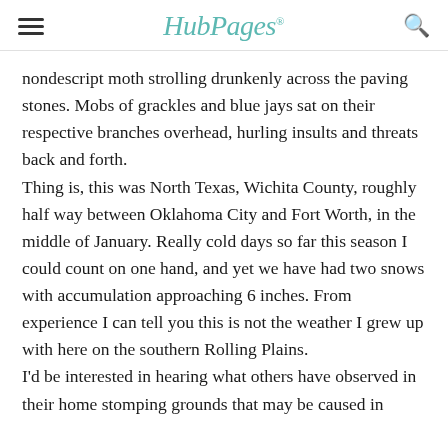HubPages
nondescript moth strolling drunkenly across the paving stones. Mobs of grackles and blue jays sat on their respective branches overhead, hurling insults and threats back and forth.
Thing is, this was North Texas, Wichita County, roughly half way between Oklahoma City and Fort Worth, in the middle of January. Really cold days so far this season I could count on one hand, and yet we have had two snows with accumulation approaching 6 inches. From experience I can tell you this is not the weather I grew up with here on the southern Rolling Plains.
I'd be interested in hearing what others have observed in their home stomping grounds that may be caused in